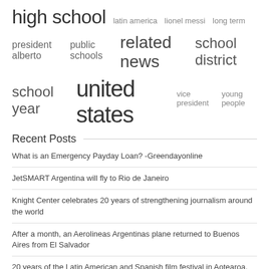[Figure (infographic): Word cloud / tag cloud with terms: high school (largest), latin america, lionel messi, long term, president alberto, public schools, related news (large), school district, school year, united states (largest), vice president, young people]
Recent Posts
What is an Emergency Payday Loan? -Greendayonline
JetSMART Argentina will fly to Rio de Janeiro
Knight Center celebrates 20 years of strengthening journalism around the world
After a month, an Aerolineas Argentinas plane returned to Buenos Aires from El Salvador
20 years of the Latin American and Spanish film festival in Aotearoa, New Zealand
Thousands in Argentina take to the streets to defend embattled vice president